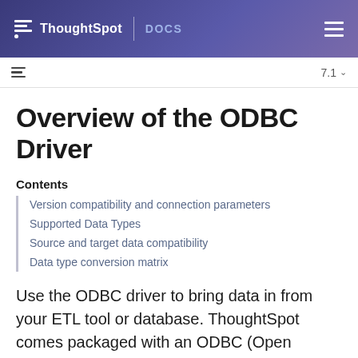ThoughtSpot | DOCS
Overview of the ODBC Driver
Contents
Version compatibility and connection parameters
Supported Data Types
Source and target data compatibility
Data type conversion matrix
Use the ODBC driver to bring data in from your ETL tool or database. ThoughtSpot comes packaged with an ODBC (Open Database